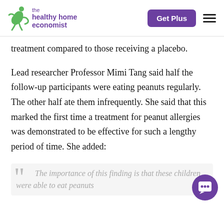the healthy home economist | Get Plus
treatment compared to those receiving a placebo.
Lead researcher Professor Mimi Tang said half the follow-up participants were eating peanuts regularly. The other half ate them infrequently. She said that this marked the first time a treatment for peanut allergies was demonstrated to be effective for such a lengthy period of time. She added:
The importance of this finding is that these children were able to eat peanuts